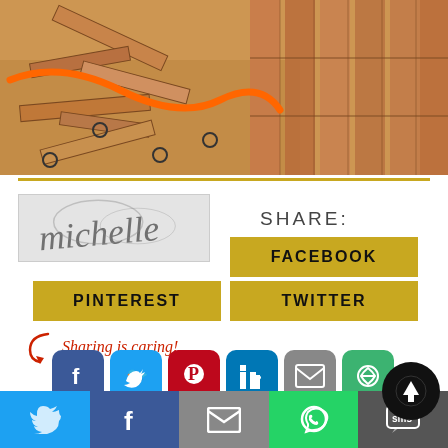[Figure (photo): Photo of hardwood flooring installation in progress, with wood planks, orange extension cord, and underlayment paper visible on the floor]
[Figure (illustration): Signature of Michelle in cursive script on a light gray background]
SHARE:
FACEBOOK
PINTEREST
TWITTER
Sharing is caring!
[Figure (infographic): Row of social sharing icon buttons: Facebook, Twitter, Pinterest, LinkedIn, Email, More options]
[Figure (infographic): Bottom sharing bar with Twitter, Facebook, Email, WhatsApp, SMS icons and an up arrow button]